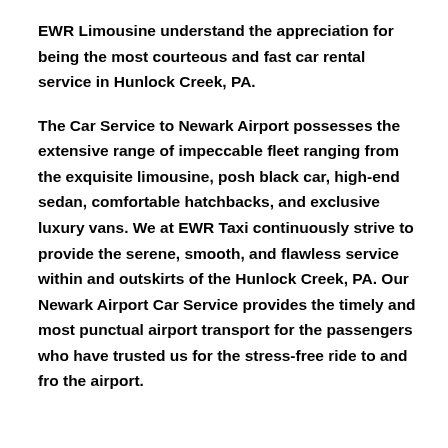EWR Limousine understand the appreciation for being the most courteous and fast car rental service in Hunlock Creek, PA.
The Car Service to Newark Airport possesses the extensive range of impeccable fleet ranging from the exquisite limousine, posh black car, high-end sedan, comfortable hatchbacks, and exclusive luxury vans. We at EWR Taxi continuously strive to provide the serene, smooth, and flawless service within and outskirts of the Hunlock Creek, PA. Our Newark Airport Car Service provides the timely and most punctual airport transport for the passengers who have trusted us for the stress-free ride to and fro the airport.